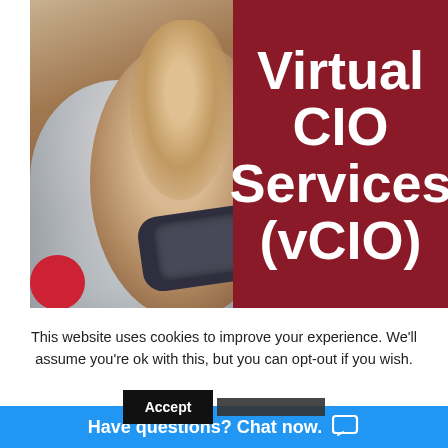[Figure (photo): Hero image showing a person's hand and wrist wearing a smartwatch, with a blurred background. The right half of the image is overlaid with a dark red/maroon panel containing the title text.]
Virtual CIO Services (vCIO)
This website uses cookies to improve your experience. We'll assume you're ok with this, but you can opt-out if you wish.
Accept
Have questions? Chat now.